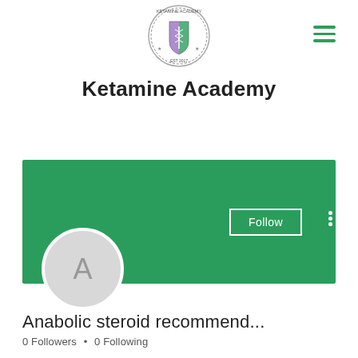[Figure (logo): Ketamine Academy circular logo with shield, star emblem, and text 'EST 2017']
Ketamine Academy
Course Login
[Figure (screenshot): Green profile banner with Follow button and three-dot menu, and avatar circle with letter A]
Anabolic steroid recommend...
0 Followers • 0 Following